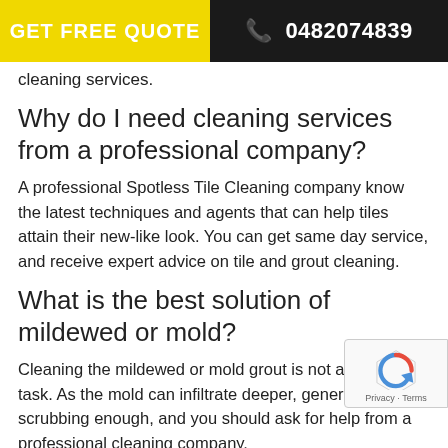GET FREE QUOTE   📞 0482074839
cleaning services.
Why do I need cleaning services from a professional company?
A professional Spotless Tile Cleaning company know the latest techniques and agents that can help tiles attain their new-like look. You can get same day service, and receive expert advice on tile and grout cleaning.
What is the best solution of mildewed or mold?
Cleaning the mildewed or mold grout is not an easy task. As the mold can infiltrate deeper, general scrubbing enough, and you should ask for help from a professional cleaning company.